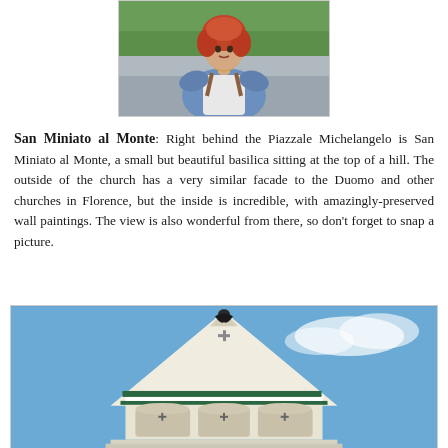[Figure (photo): Photo of a woman with red hair wearing a denim jacket and backpack, standing outdoors with green trees in the background]
San Miniato al Monte: Right behind the Piazzale Michelangelo is San Miniato al Monte, a small but beautiful basilica sitting at the top of a hill. The outside of the church has a very similar facade to the Duomo and other churches in Florence, but the inside is incredible, with amazingly-preserved wall paintings. The view is also wonderful from there, so don't forget to snap a picture.
[Figure (photo): Photo of the top of San Miniato al Monte basilica facade against a blue sky, showing the ornate marble decorations and eagle statue at the peak]